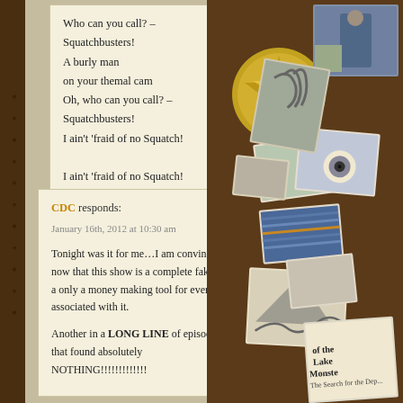Who can you call? – Squatchbusters!
A burly man
on your themal cam
Oh, who can you call? – Squatchbusters!
I ain't 'fraid of no Squatch!
I ain't 'fraid of no Squatch!
CDC responds:
January 16th, 2012 at 10:30 am

Tonight was it for me…I am convinced now that this show is a complete fake and a only a money making tool for everyone associated with it.

Another in a LONG LINE of episodes that found absolutely NOTHING!!!!!!!!!!!!!
[Figure (photo): Collage of images on brown background: compass coin, photographs, Bigfoot/monster-related imagery, book cover about lake monsters, various overlapping photos and illustrations]